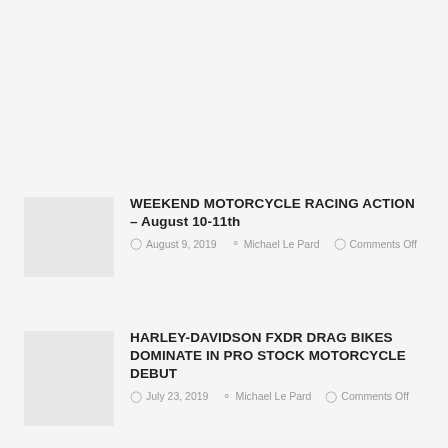[Figure (other): Thumbnail image placeholder for Weekend Motorcycle Racing Action article]
WEEKEND MOTORCYCLE RACING ACTION – August 10-11th
August 9, 2019  Michael Le Pard  Comments Off
[Figure (other): Thumbnail image placeholder for Harley-Davidson FXDR Drag Bikes article]
HARLEY-DAVIDSON FXDR DRAG BIKES DOMINATE IN PRO STOCK MOTORCYCLE DEBUT
July 23, 2019  Michael Le Pard  Comments Off